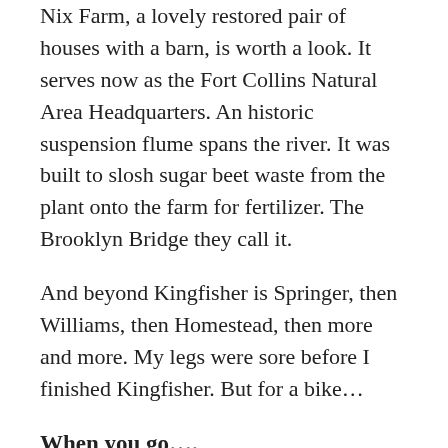Nix Farm, a lovely restored pair of houses with a barn, is worth a look. It serves now as the Fort Collins Natural Area Headquarters. An historic suspension flume spans the river. It was built to slosh sugar beet waste from the plant onto the farm for fertilizer. The Brooklyn Bridge they call it.
And beyond Kingfisher is Springer, then Williams, then Homestead, then more and more. My legs were sore before I finished Kingfisher. But for a bike…
When you go….
Need a dose of spring before it finds its way to Cheyenne? Take it on me. It has arrived and there are plenty of trails along the Cache la Poudre River to find it. The paths are easy and level, just right for winter